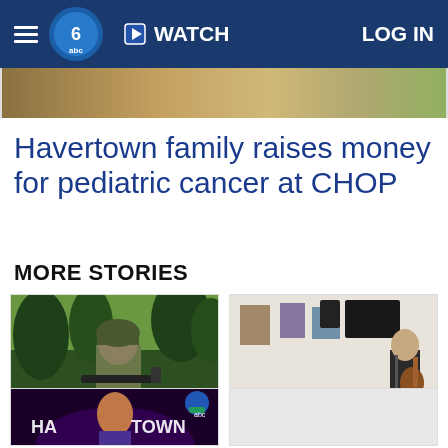WATCH  LOG IN
[Figure (photo): Partial photo visible at top behind nav bar]
Havertown family raises money for pediatric cancer at CHOP
MORE STORIES
[Figure (photo): Soldier in camouflage gear with weapon in green outdoor setting — Ukraine veteran story]
Local veteran back home after fighting in Ukraine for 70 days
[Figure (photo): Man playing guitar at microphone stand in cafe/lounge setting — singing competition story]
New singing competition coming to Havertown
[Figure (photo): Man singing on stage with purple lighting and HAVERTOWN text visible]
[Figure (photo): Partial blank/placeholder story card]